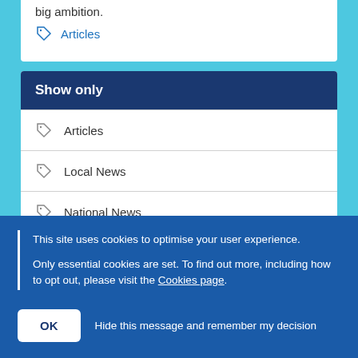big ambition.
Articles
Show only
Articles
Local News
National News
This site uses cookies to optimise your user experience.
Only essential cookies are set. To find out more, including how to opt out, please visit the Cookies page.
OK   Hide this message and remember my decision